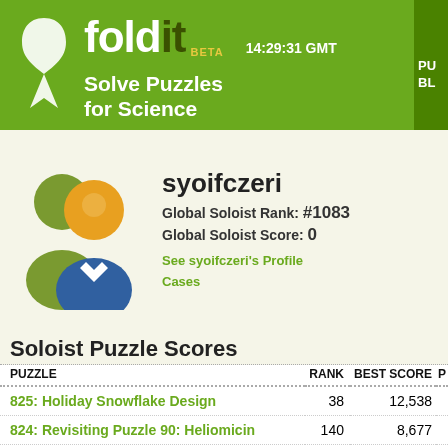fold it BETA  Solve Puzzles for Science  14:29:31 GMT
[Figure (illustration): Two user avatar icons: a green figure and a blue figure overlapping]
syoifczeri
Global Soloist Rank: #1083
Global Soloist Score: 0
See syoifczeri's Profile
Cases
Soloist Puzzle Scores
| PUZZLE | RANK | BEST SCORE | P |
| --- | --- | --- | --- |
| 825: Holiday Snowflake Design | 38 | 12,538 |  |
| 824: Revisiting Puzzle 90: Heliomicin | 140 | 8,677 |  |
| 827: CASP ROLL Target R0044: Server Models | 137 | 10,127 |  |
| 828: Abeta Loop Closure A | 136 | 9,146 |  |
| 823: Large CASP ROLL Target R0044 | 150 | 9,275 |  |
| 821: Revisiting Puzzle 89: Cow Eye | 159 | 10,429 |  |
| 820: ... | 170 | ... |  |